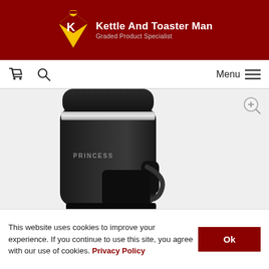[Figure (logo): Kettle And Toaster Man logo — superhero figure in red and yellow diamond shape with letter K, beside brand name text]
Kettle And Toaster Man
Graded Product Specialist
[Figure (screenshot): Navigation bar with shopping cart icon, search icon on left and Menu with hamburger icon on right]
[Figure (photo): Close-up photo of a black Princess brand coffee maker against light grey background, showing the top lid, body with PRINCESS branding, and a black carafe/cup at the bottom right]
This website uses cookies to improve your experience. If you continue to use this site, you agree with our use of cookies. Privacy Policy